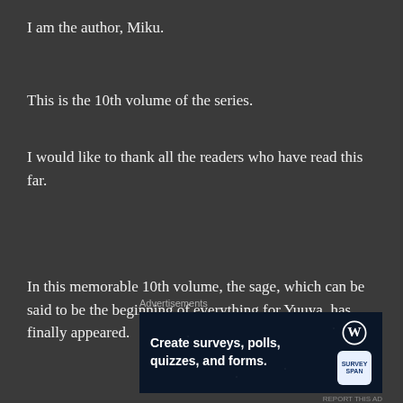I am the author, Miku.
This is the 10th volume of the series.
I would like to thank all the readers who have read this far.
In this memorable 10th volume, the sage, which can be said to be the beginning of everything for Yuuya, has finally appeared.
[Figure (other): Advertisement banner: Create surveys, polls, quizzes, and forms. WordPress and SurveySpan logos shown on dark blue background with subtle dot pattern.]